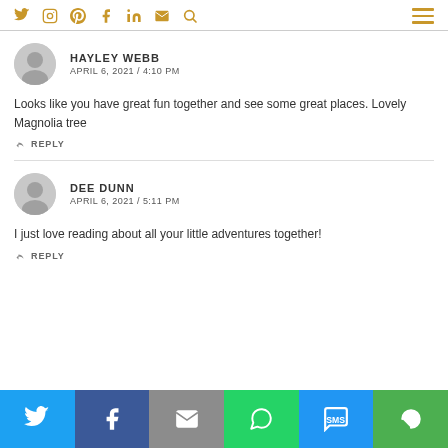Social media nav icons and hamburger menu
HAYLEY WEBB
APRIL 6, 2021 / 4:10 PM
Looks like you have great fun together and see some great places. Lovely Magnolia tree
REPLY
DEE DUNN
APRIL 6, 2021 / 5:11 PM
I just love reading about all your little adventures together!
REPLY
Share bar: Twitter, Facebook, Email, WhatsApp, SMS, Copy